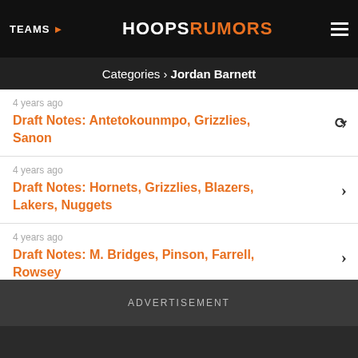TEAMS | HOOPSRUMORS
Categories › Jordan Barnett
4 years ago
Draft Notes: Antetokounmpo, Grizzlies, Sanon
4 years ago
Draft Notes: Hornets, Grizzlies, Blazers, Lakers, Nuggets
4 years ago
Draft Notes: M. Bridges, Pinson, Farrell, Rowsey
4 years ago
Draft Decisions: McDaniels, Cody & Caleb Martin
ADVERTISEMENT